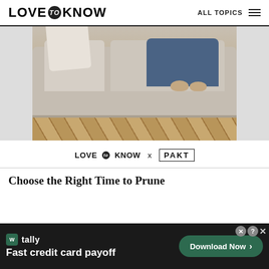LOVE to KNOW   ALL TOPICS
[Figure (photo): Person sitting on a beige/gray sofa with bare feet crossed, wearing blue jeans, with a white pillow visible on the left. Hardwood herringbone floor visible below the sofa.]
LOVE to KNOW x PAKT
Choose the Right Time to Prune
[Figure (screenshot): Advertisement banner: Tally app - Fast credit card payoff. Download Now button on right side. Close/X buttons in top right corner.]